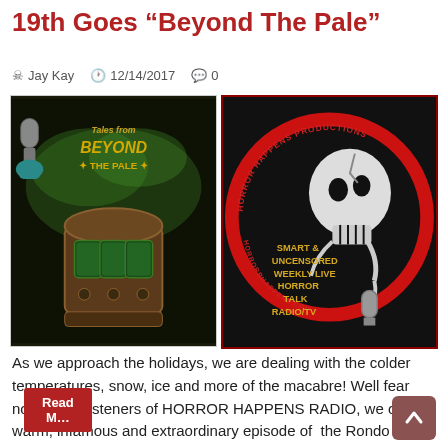19th Goes “Beyond The Pale”
Jay Kay   12/14/2017   0
[Figure (photo): Two horror-themed promotional images side by side: left shows 'Tales from Beyond the Pale' artwork with a vintage radio and green smoke; right shows Horror Happens Productions logo with a skull holding a microphone and text 'Smart & Uncensored Weekly Live Horror Talk Radio/TV']
As we approach the holidays, we are dealing with the colder temperatures, snow, ice and more of the macabre! Well fear not faithful listeners of HORROR HAPPENS RADIO, we offer a warm, infamous and extraordinary episode of the Rondo Nominated horror talk radio program. Coming Tuesday December 19th, we welcome into the bunker and of course broadcasted LIVE on HomeGrownRadioNJ (listen …